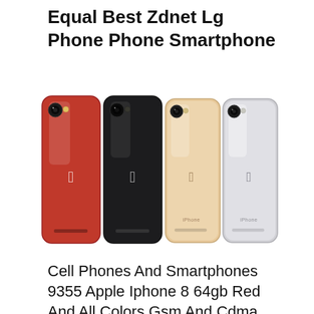Equal Best Zdnet Lg Phone Phone Smartphone
[Figure (photo): Four iPhone 8 smartphones shown from the back in four colors: red, black/space gray, gold, and silver, displayed side by side.]
Cell Phones And Smartphones 9355 Apple Iphone 8 64gb Red And All Colors Gsm And Cdma Unlocked Brand New Warranty P...